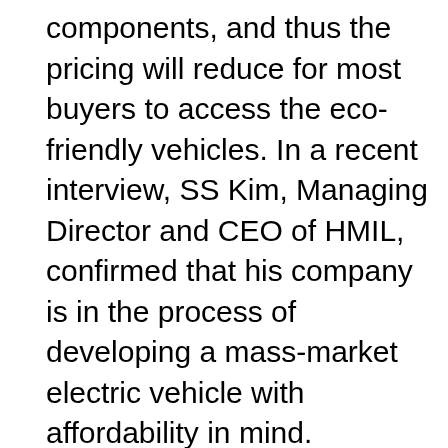components, and thus the pricing will reduce for most buyers to access the eco-friendly vehicles. In a recent interview, SS Kim, Managing Director and CEO of HMIL, confirmed that his company is in the process of developing a mass-market electric vehicle with affordability in mind.